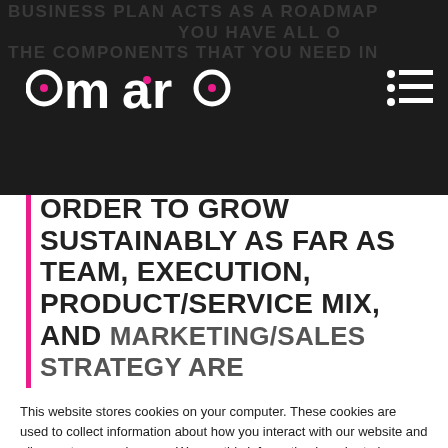[Figure (screenshot): Dark header background with faded uppercase text: BUSINESS PLAN ACTS AS A ROADMAP... YOU HAVE ALL OF THE COMPONENTS THAT YOU NEED IN]
[Figure (logo): Amara logo in white with pink accent dots on dark background]
[Figure (other): Hamburger menu icon (white dots and lines) on dark background]
ORDER TO GROW SUSTAINABLY AS FAR AS TEAM, EXECUTION, PRODUCT/SERVICE MIX, AND MARKETING/SALES STRATEGY ARE
This website stores cookies on your computer. These cookies are used to collect information about how you interact with our website and allow us to remember you. We use this information in order to improve and customize your browsing experience and for analytics and metrics about our visitors both on this website and other media. To find out more about the cookies we use, see our Privacy Policy.
If you decline, your information won't be tracked when you visit this website. A single cookie will be used in your browser to remember your preference not to be tracked.
Accept
Decline